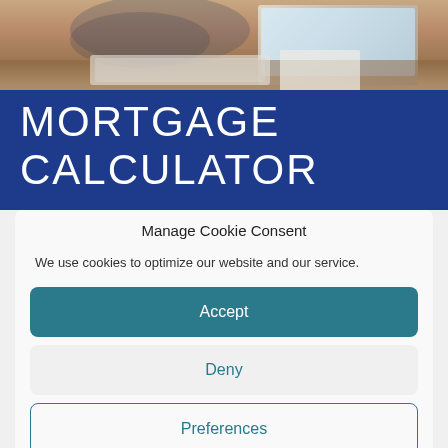[Figure (photo): Photo of a person using a laptop on a wooden desk, cropped at top]
MORTGAGE CALCULATOR
Manage Cookie Consent
We use cookies to optimize our website and our service.
Accept
Deny
Preferences